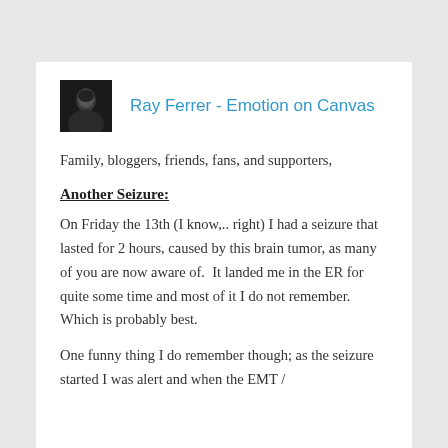Ray Ferrer - Emotion on Canvas
Family, bloggers, friends, fans, and supporters,
Another Seizure:
On Friday the 13th (I know,.. right) I had a seizure that lasted for 2 hours, caused by this brain tumor, as many of you are now aware of.  It landed me in the ER for quite some time and most of it I do not remember.  Which is probably best.
One funny thing I do remember though; as the seizure started I was alert and when the EMT /